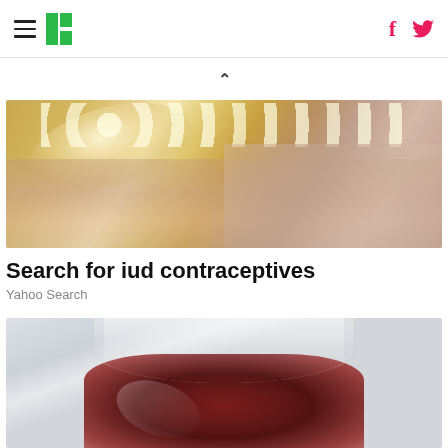HuffPost navigation header with hamburger menu, logo, Facebook and Twitter icons
[Figure (photo): Close-up of two hands holding a blister pack of contraceptive pills against a blurred background]
Search for iud contraceptives
Yahoo Search
[Figure (photo): Close-up of a stemless wine glass filled with red wine against a blurred light background]